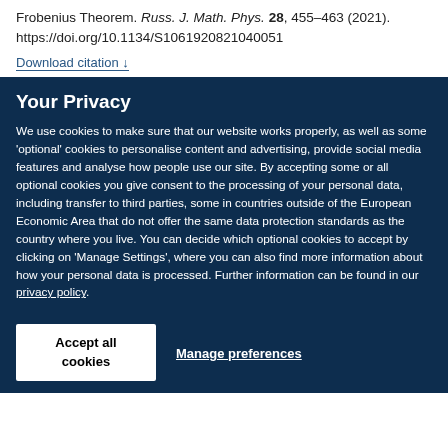Frobenius Theorem. Russ. J. Math. Phys. 28, 455–463 (2021). https://doi.org/10.1134/S1061920821040051
Download citation ↓
Your Privacy
We use cookies to make sure that our website works properly, as well as some 'optional' cookies to personalise content and advertising, provide social media features and analyse how people use our site. By accepting some or all optional cookies you give consent to the processing of your personal data, including transfer to third parties, some in countries outside of the European Economic Area that do not offer the same data protection standards as the country where you live. You can decide which optional cookies to accept by clicking on 'Manage Settings', where you can also find more information about how your personal data is processed. Further information can be found in our privacy policy.
Accept all cookies
Manage preferences